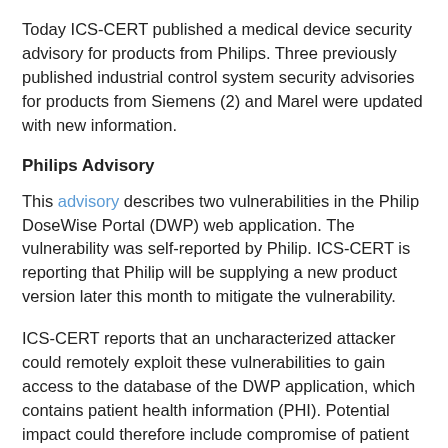Today ICS-CERT published a medical device security advisory for products from Philips. Three previously published industrial control system security advisories for products from Siemens (2) and Marel were updated with new information.
Philips Advisory
This advisory describes two vulnerabilities in the Philip DoseWise Portal (DWP) web application. The vulnerability was self-reported by Philip. ICS-CERT is reporting that Philip will be supplying a new product version later this month to mitigate the vulnerability.
ICS-CERT reports that an uncharacterized attacker could remotely exploit these vulnerabilities to gain access to the database of the DWP application, which contains patient health information (PHI). Potential impact could therefore include compromise of patient confidentiality, system integrity, and/or system availability.
NOTE: the Philips security page notes that the discovery of